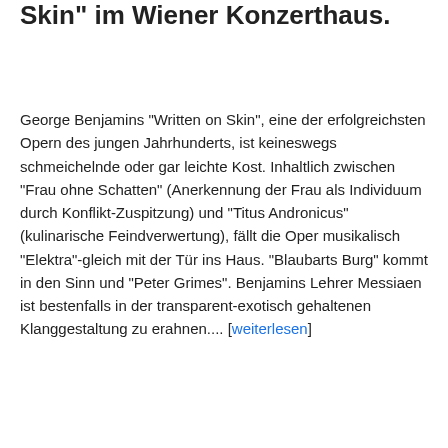Skin" im Wiener Konzerthaus.
George Benjamins "Written on Skin", eine der erfolgreichsten Opern des jungen Jahrhunderts, ist keineswegs schmeichelnde oder gar leichte Kost. Inhaltlich zwischen "Frau ohne Schatten" (Anerkennung der Frau als Individuum durch Konflikt-Zuspitzung) und "Titus Andronicus" (kulinarische Feindverwertung), fällt die Oper musikalisch "Elektra"-gleich mit der Tür ins Haus. "Blaubarts Burg" kommt in den Sinn und "Peter Grimes". Benjamins Lehrer Messiaen ist bestenfalls in der transparent-exotisch gehaltenen Klanggestaltung zu erahnen.... [weiterlesen]
jfl | Monday, February 17, 2020   No comments:
Share
13.2.20
American Ballet Theater's Gothic 'Giselle'...